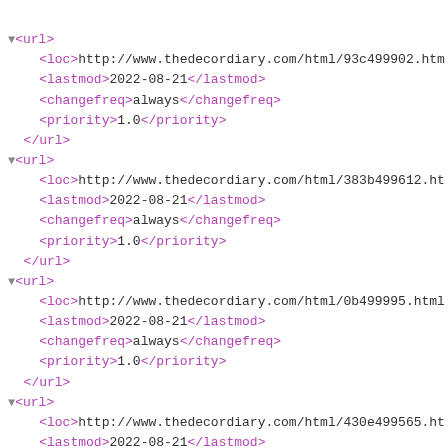XML sitemap code showing 5 url blocks, each with loc, lastmod (2022-08-21), changefreq (always), and priority (1.0) tags for thedecordiary.com HTML pages.